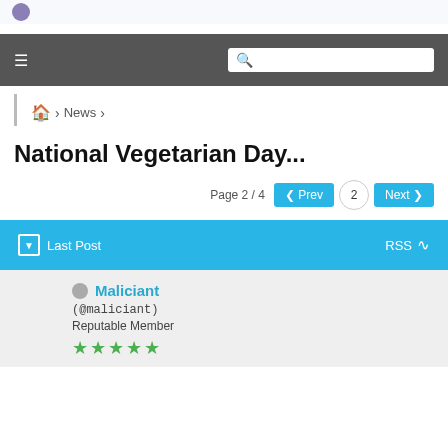logo
≡  [search]
🏠 > News >
National Vegetarian Day...
Page 2 / 4  ‹Prev  2  Next ›
↓ Last Post   RSS
Maliciant
(@maliciant)
Reputable Member
★★★★★